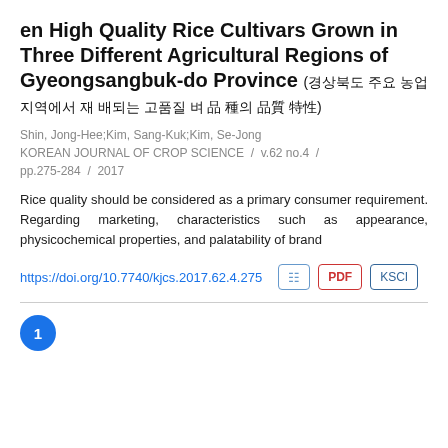en High Quality Rice Cultivars Grown in Three Different Agricultural Regions of Gyeongsangbuk-do Province (경상북도 주요 농업지역에서 재 배되는 고품질 벼 品 種의 品質 特性)
Shin, Jong-Hee;Kim, Sang-Kuk;Kim, Se-Jong
KOREAN JOURNAL OF CROP SCIENCE / v.62 no.4 / pp.275-284 / 2017
Rice quality should be considered as a primary consumer requirement. Regarding marketing, characteristics such as appearance, physicochemical properties, and palatability of brand
https://doi.org/10.7740/kjcs.2017.62.4.275
1